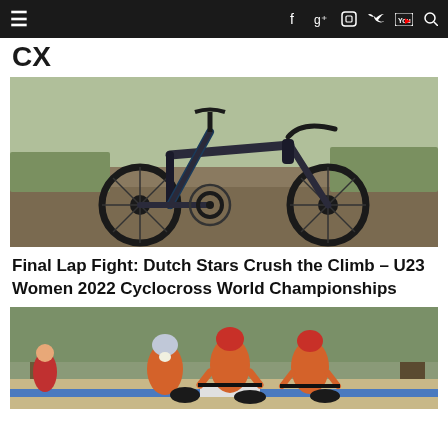Navigation bar with menu, social icons (Facebook, Google+, Instagram, Twitter, YouTube) and search
CX
[Figure (photo): A dark carbon cyclocross bike photographed outdoors on gravel/grass background]
Final Lap Fight: Dutch Stars Crush the Climb – U23 Women 2022 Cyclocross World Championships
[Figure (photo): Cyclocross race photo showing women riders in orange Dutch national team jerseys racing through a wooded course]